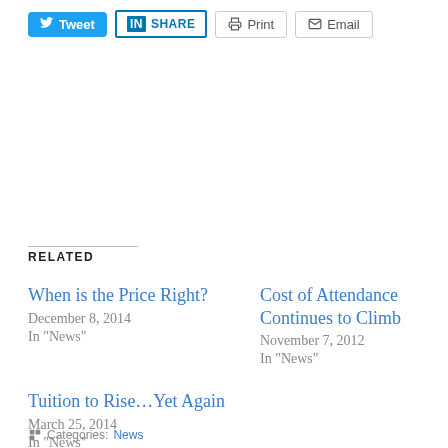[Figure (screenshot): Social sharing buttons row: Tweet (blue), Share on LinkedIn (blue border), Print (gray border), Email (gray border)]
RELATED
When is the Price Right?
December 8, 2014
In "News"
Cost of Attendance Continues to Climb
November 7, 2012
In "News"
Tuition to Rise...Yet Again
March 25, 2014
In "News"
Categories: News